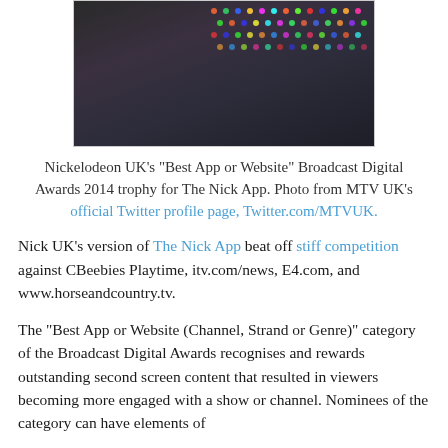[Figure (photo): Dark fabric surface with colorful dotted/LED pattern visible in top right corner, showing what appears to be a trophy or award item resting on a dark carpet or felt surface.]
Nickelodeon UK's "Best App or Website" Broadcast Digital Awards 2014 trophy for The Nick App. Photo from MTV UK's official Twitter profile page, Twitter.com/MTVUK.
Nick UK's version of The Nick App beat off stiff competition against CBeebies Playtime, itv.com/news, E4.com, and www.horseandcountry.tv.
The "Best App or Website (Channel, Strand or Genre)" category of the Broadcast Digital Awards recognises and rewards outstanding second screen content that resulted in viewers becoming more engaged with a show or channel. Nominees of the category can have elements of